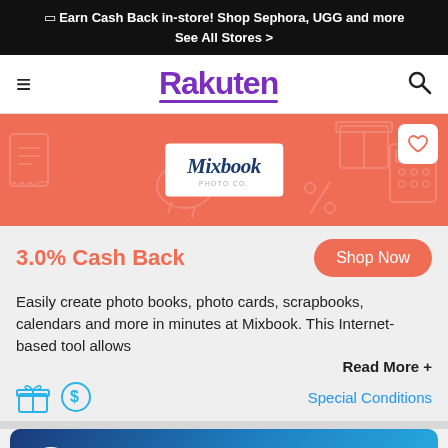🎁 Earn Cash Back in-store! Shop Sephora, UGG and more
See All Stores >
[Figure (logo): Rakuten navigation bar with hamburger menu icon, Rakuten purple logo, and search icon]
[Figure (illustration): Salmon/coral colored hero banner with Mixbook logo in white box, heart/favorite button in top right, decorative shopping icons pattern]
3.0% Cash Back
[Figure (screenshot): Shop Now button (red/coral rounded pill button)]
Easily create photo books, photo cards, scrapbooks, calendars and more in minutes at Mixbook. This Internet-based tool allows
Read More +
Special Conditions
[Figure (screenshot): Bottom card with dark blue gradient background showing Mixbook circular logo, Mixbook name, and 3.0% Cash Back text]